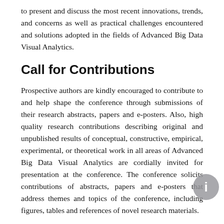to present and discuss the most recent innovations, trends, and concerns as well as practical challenges encountered and solutions adopted in the fields of Advanced Big Data Visual Analytics.
Call for Contributions
Prospective authors are kindly encouraged to contribute to and help shape the conference through submissions of their research abstracts, papers and e-posters. Also, high quality research contributions describing original and unpublished results of conceptual, constructive, empirical, experimental, or theoretical work in all areas of Advanced Big Data Visual Analytics are cordially invited for presentation at the conference. The conference solicits contributions of abstracts, papers and e-posters that address themes and topics of the conference, including figures, tables and references of novel research materials.